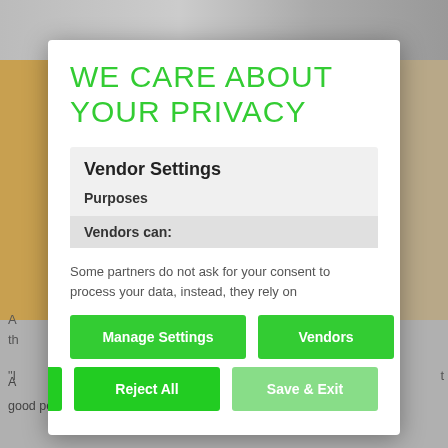[Figure (screenshot): Blurred website background with photo content visible behind a privacy consent modal dialog]
WE CARE ABOUT YOUR PRIVACY
Vendor Settings
Purposes
Vendors can:
Some partners do not ask for your consent to process your data, instead, they rely on
Manage Settings
Vendors
Accept All
Reject All
Save & Exit